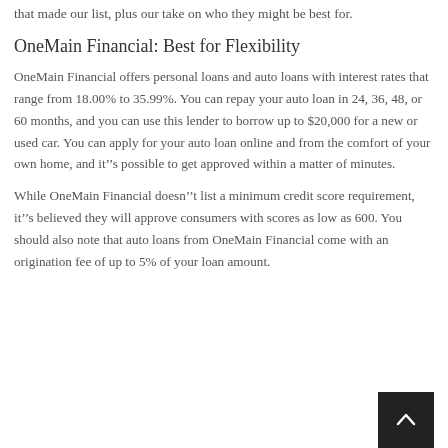that made our list, plus our take on who they might be best for.
OneMain Financial: Best for Flexibility
OneMain Financial offers personal loans and auto loans with interest rates that range from 18.00% to 35.99%. You can repay your auto loan in 24, 36, 48, or 60 months, and you can use this lender to borrow up to $20,000 for a new or used car. You can apply for your auto loan online and from the comfort of your own home, and it’s possible to get approved within a matter of minutes.
While OneMain Financial doesn’t list a minimum credit score requirement, it’s believed they will approve consumers with scores as low as 600. You should also note that auto loans from OneMain Financial come with an origination fee of up to 5% of your loan amount.